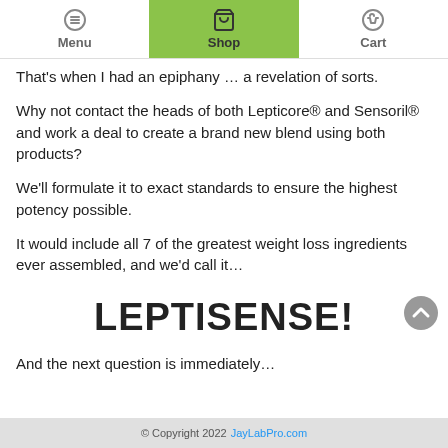Menu | Shop | Cart
That’s when I had an epiphany … a revelation of sorts.
Why not contact the heads of both Lepticore® and Sensoril® and work a deal to create a brand new blend using both products?
We’ll formulate it to exact standards to ensure the highest potency possible.
It would include all 7 of the greatest weight loss ingredients ever assembled, and we’d call it…
LEPTISENSE!
And the next line starts immediately...
© Copyright 2022 JayLabPro.com